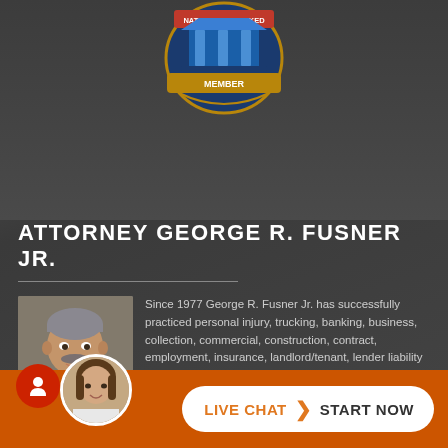[Figure (logo): Nationally Ranked Member badge/seal with pillars, blue and red colors, gold ribbon]
ATTORNEY GEORGE R. FUSNER JR.
[Figure (photo): Headshot photo of Attorney George R. Fusner Jr., middle-aged man with gray hair and mustache wearing a dark suit]
Since 1977 George R. Fusner Jr. has successfully practiced personal injury, trucking, banking, business, collection, commercial, construction, contract, employment, insurance, landlord/tenant, lender liability and products liability law using a direct, action-oriented approach in identifying and solving problems. Experience George R. Fusner, … More...
LIVE CHAT  START NOW